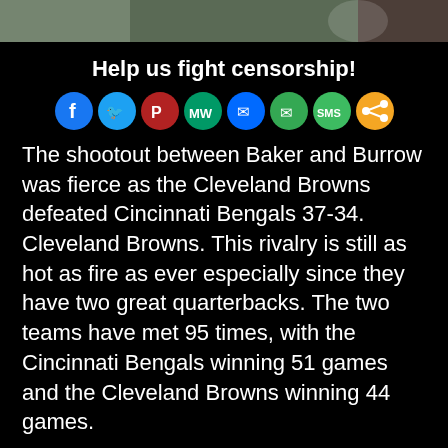[Figure (photo): Sports photo strip at the top showing football players]
Help us fight censorship!
[Figure (infographic): Row of social media sharing icons: Facebook, Twitter, Parler, MeWe, Messenger, Email, SMS, Share]
The shootout between Baker and Burrow was fierce as the Cleveland Browns defeated Cincinnati Bengals 37-34. Cleveland Browns. This rivalry is still as hot as fire as ever especially since they have two great quarterbacks. The two teams have met 95 times, with the Cincinnati Bengals winning 51 games and the Cleveland Browns winning 44 games.
[Figure (logo): Google/YouTube logo with YOUTUBE text]